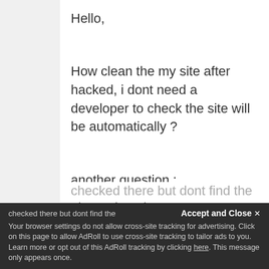Hello,
How clean the my site after hacked, i dont need a developer to check the site will be automatically ?
another question :
I have domain on inmotionhosting and see on google, this my domain a subdomains i dont created, i use wordpress on that site i checked there but dont find the
Accept and Close
Your browser settings do not allow cross-site tracking for advertising. Click on this page to allow AdRoll to use cross-site tracking to tailor ads to you. Learn more or opt out of this AdRoll tracking by clicking here. This message only appears once.